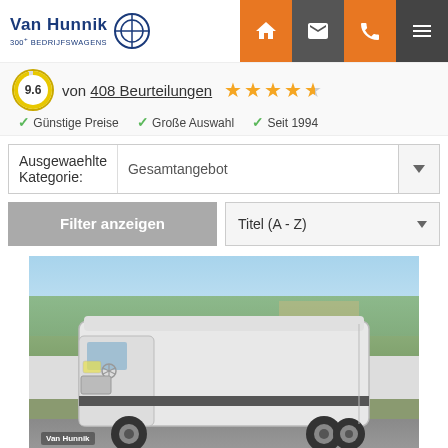[Figure (logo): Van Hunnik 300+ BEDRIJFSWAGENS logo with circular icon]
[Figure (infographic): Navigation icons: home, email, phone, hamburger menu on orange and dark grey backgrounds]
9.6  von 408 Beurteilungen  ★★★★½
✓ Günstige Preise  ✓ Große Auswahl  ✓ Seit 1994
Ausgewaehlte Kategorie:  Gesamtangebot
Filter anzeigen    Titel (A - Z)
[Figure (photo): White Mercedes-Benz Sprinter large cargo van parked on a road, side profile view, with trees and building in background. Van Hunnik watermark in bottom left.]